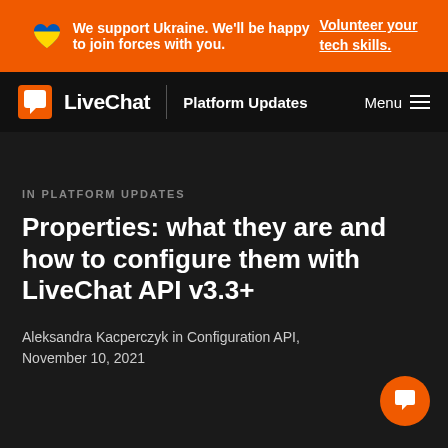We support Ukraine. We'll be happy to join forces with you. Volunteer your tech skills.
LiveChat | Platform Updates  Menu
IN PLATFORM UPDATES
Properties: what they are and how to configure them with LiveChat API v3.3+
Aleksandra Kacperczyk in Configuration API, November 10, 2021